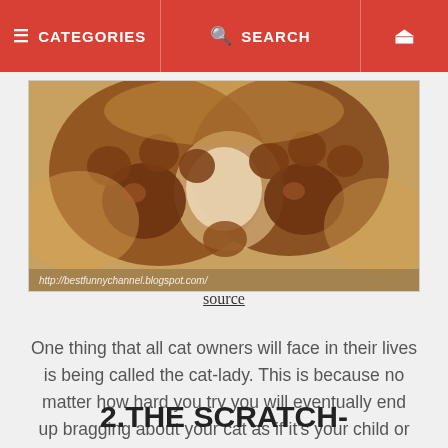≡ CATEGORIES   🔍 SEARCH   ⏻
[Figure (photo): Close-up photo of a cat's paws/belly showing brown and orange fur with paw pads, watermarked with http://bestfunnychannel.blogspot.com/]
source
One thing that all cat owners will face in their lives is being called the cat-lady. This is because no matter how hard you try you will eventually end up bragging about your cat as if it's your child or the better-Half.
2.THE SCRATCH-